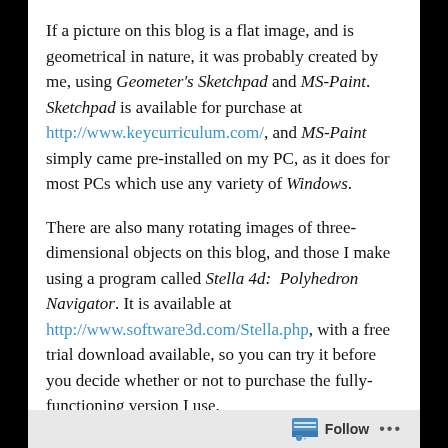If a picture on this blog is a flat image, and is geometrical in nature, it was probably created by me, using Geometer's Sketchpad and MS-Paint. Sketchpad is available for purchase at http://www.keycurriculum.com/, and MS-Paint simply came pre-installed on my PC, as it does for most PCs which use any variety of Windows.
There are also many rotating images of three-dimensional objects on this blog, and those I make using a program called Stella 4d: Polyhedron Navigator. It is available at http://www.software3d.com/Stella.php, with a free trial download available, so you can try it before you decide whether or not to purchase the fully-functioning version I use.
Stella 4d allows the user the option of placing images on the faces of polyhedra, and sometimes
Follow ...